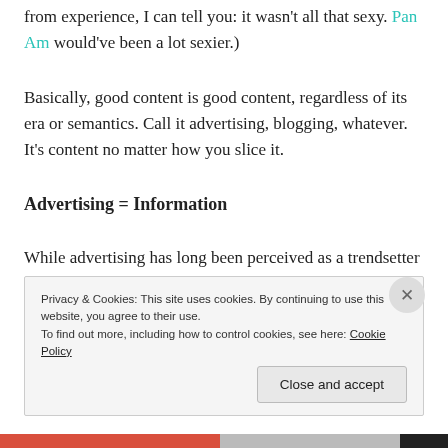from experience, I can tell you: it wasn't all that sexy. Pan Am would've been a lot sexier.)
Basically, good content is good content, regardless of its era or semantics. Call it advertising, blogging, whatever. It’s content no matter how you slice it.
Advertising = Information
While advertising has long been perceived as a trendsetter in pop culture, Ogilvy viewed it as content that informs.
Privacy & Cookies: This site uses cookies. By continuing to use this website, you agree to their use. To find out more, including how to control cookies, see here: Cookie Policy
Close and accept